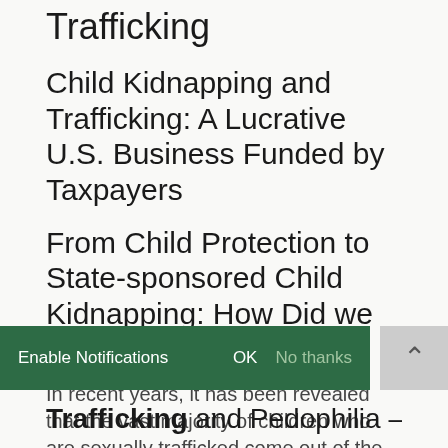Modern Day Slavery and Child Trafficking
Child Kidnapping and Trafficking: A Lucrative U.S. Business Funded by Taxpayers
From Child Protection to State-sponsored Child Kidnapping: How Did we Get Here?
In recent years, it has been revealed that the vast majority of children who are sexually trafficked come out of the U.S. Foster Care system. See:
Enable Notifications   OK   No thanks
Trafficking and Pedophilia – CPS